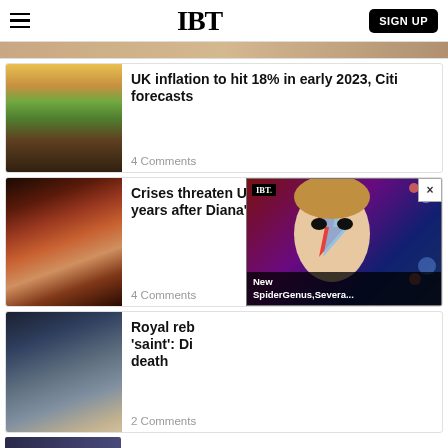IBT  SIGN UP
[Figure (photo): Partial view of a top article image strip]
[Figure (photo): Grocery store with produce aisles and worker in yellow vest]
UK inflation to hit 18% in early 2023, Citi forecasts
4 Comments
[Figure (photo): Memorial with candles, flowers, and framed photo of Princess Diana]
Crises threaten UK monarchy's image 25 years after Diana's death
4 Comments
[Figure (photo): Royal couple, Charles and Diana, at public event]
Royal reb 'saint': Di death
2 Comments
[Figure (screenshot): IBT video popup showing David Bowie-style face paint with label: New SpiderGenus,Severa...]
[Figure (photo): Partial bottom image strip]